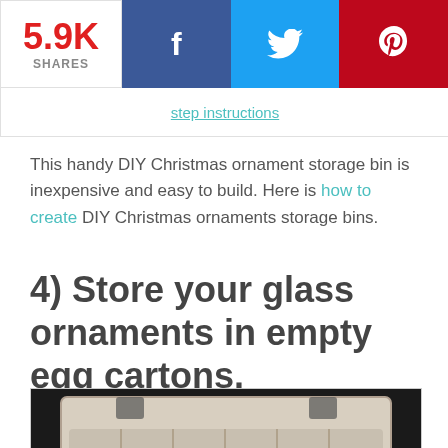5.9K SHARES | Facebook | Twitter | Pinterest
This handy DIY Christmas ornament storage bin is inexpensive and easy to build. Here is how to create DIY Christmas ornaments storage bins.
4) Store your glass ornaments in empty egg cartons.
[Figure (photo): An open cardboard egg carton viewed from above, with blue glittery Christmas ornament balls nestled inside the bottom portion, photographed on a dark background.]